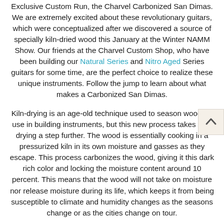Exclusive Custom Run, the Charvel Carbonized San Dimas.  We are extremely excited about these revolutionary guitars, which were conceptualized after we discovered a source of specially kiln-dried wood this January at the Winter NAMM Show.  Our friends at the Charvel Custom Shop, who have been building our Natural Series and Nitro Aged Series guitars for some time, are the perfect choice to realize these unique instruments.  Follow the jump to learn about what makes a Carbonized San Dimas.
Kiln-drying is an age-old technique used to season wood for use in building instruments, but this new process takes kiln-drying a step further.  The wood is essentially cooking in a pressurized kiln in its own moisture and gasses as they escape. This process carbonizes the wood, giving it this dark rich color and locking the moisture content around 10 percent.  This means that the wood will not take on moisture nor release moisture during its life, which keeps it from being susceptible to climate and humidity changes as the seasons change or as the cities change on tour.